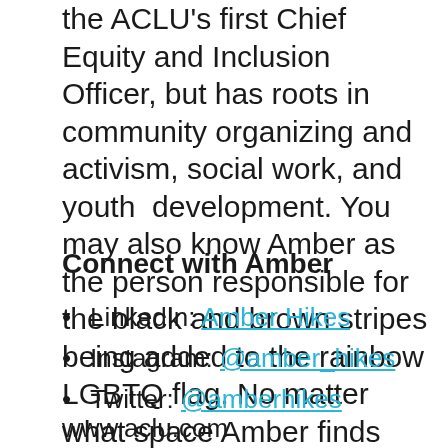the ACLU's first Chief Equity and Inclusion Officer, but has roots in community organizing and activism, social work, and youth development. You may also know Amber as the person responsible for the black and brown stripes being added to the rainbow LGBTQ flag. No matter what space Amber finds herself in, she is always pushing for equity and justice for all.
Connect with Amber
LinkedIn: Amber Hikes
Instagram: @amber_hikes
Twitter: @amberhikes
www.aclu.com